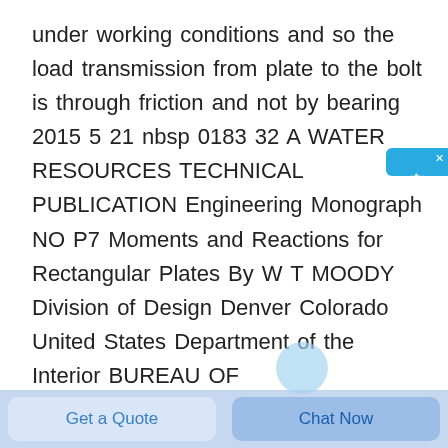under working conditions and so the load transmission from plate to the bolt is through friction and not by bearing 2015 5 21 nbsp 0183 32 A WATER RESOURCES TECHNICAL PUBLICATION Engineering Monograph NO P7 Moments and Reactions for Rectangular Plates By W T MOODY Division of Design Denver Colorado United States Department of the Interior BUREAU OF RECLAMATION2013 11 18 nbsp 0183 32 ANCHOR FAILURE With rare exception most anchor failures are caused by the